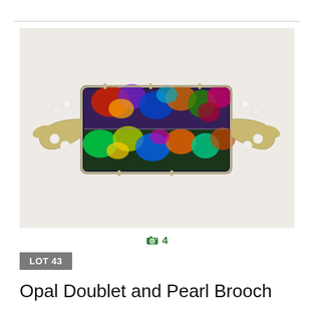[Figure (photo): Opal doublet and pearl brooch with colorful iridescent rectangular opal stone set in gold-toned metal with pearl accents on sides]
🔷 4
LOT 43
Opal Doublet and Pearl Brooch